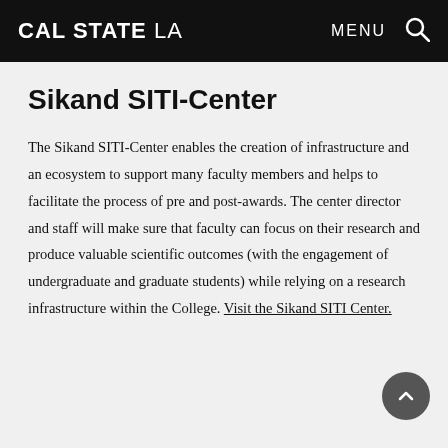CAL STATE LA  MENU
Sikand SITI-Center
The Sikand SITI-Center enables the creation of infrastructure and an ecosystem to support many faculty members and helps to facilitate the process of pre and post-awards. The center director and staff will make sure that faculty can focus on their research and produce valuable scientific outcomes (with the engagement of undergraduate and graduate students) while relying on a research infrastructure within the College. Visit the Sikand SITI Center.